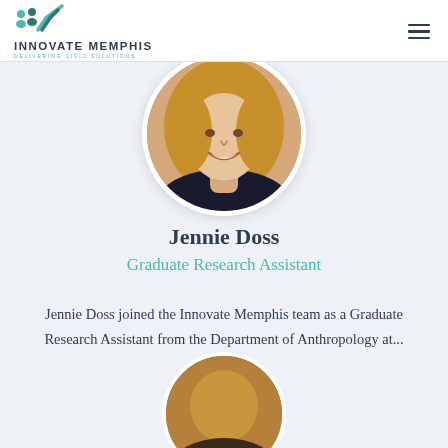INNOVATE MEMPHIS — DELIVERING CIVIC SOLUTIONS
[Figure (photo): Circular headshot of Jennie Doss, a woman with long wavy blonde hair, smiling, wearing a dark top with a small necklace]
Jennie Doss
Graduate Research Assistant
Jennie Doss joined the Innovate Memphis team as a Graduate Research Assistant from the Department of Anthropology at...
[Figure (photo): Partially visible circular headshot of a second person at the bottom of the page]